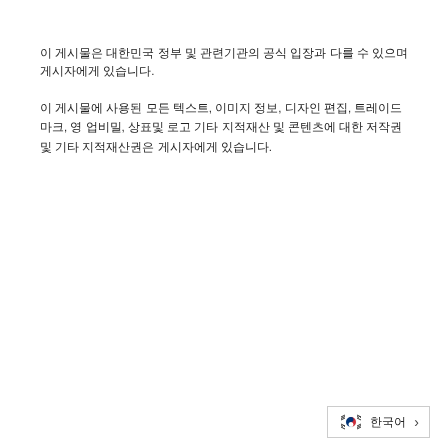이 게시물은 대한민국 정부 및 관련기관의 공식 입장과 다를 수 있으며 게시자에게 있습니다.
이 게시물에 사용된 모든 텍스트, 이미지 정보, 디자인 편집, 트레이드 마크, 영업비밀, 상표, 로고 기타 지적재산 및 콘텐츠에 대한 저작권 및 기타 지적재산권은 게시자에게 있습니다.